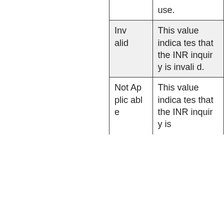| Value | Description |
| --- | --- |
|  | use. |
| Invalid | This value indicates that the INR inquiry is invalid. |
| Not Applicable | This value indicates that the INR inquiry is |